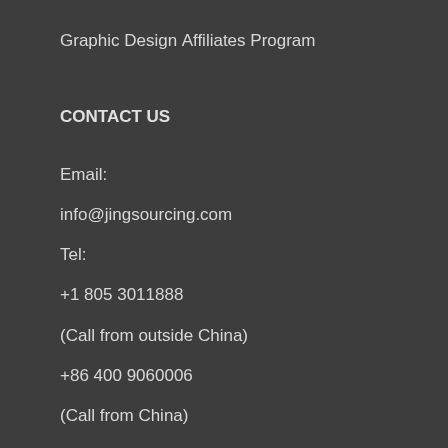Graphic Design
Affiliates Program
CONTACT US
Email:
info@jingsourcing.com
Tel:
+1 805 3011888
(Call from outside China)
+86 400 9060006
(Call from China)